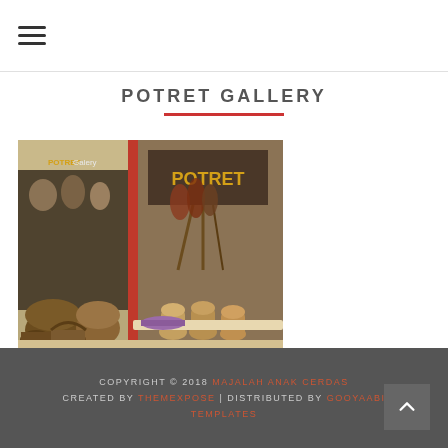≡ (hamburger menu)
POTRET GALLERY
[Figure (photo): Storefront of Potret Gallery showing handicrafts, baskets, pottery, and dried flower arrangements on display outdoors.]
Kerajinan Rakyat
COPYRIGHT © 2018 MAJALAH ANAK CERDAS CREATED BY THEMEXPOSE | DISTRIBUTED BY GOOYAABI TEMPLATES